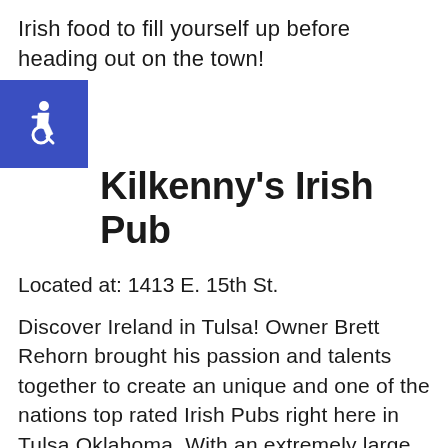Irish food to fill yourself up before heading out on the town!
[Figure (logo): Accessibility wheelchair icon on blue background]
Kilkenny's Irish Pub
Located at: 1413 E. 15th St.
Discover Ireland in Tulsa! Owner Brett Rehorn brought his passion and talents together to create an unique and one of the nations top rated Irish Pubs right here in Tulsa Oklahoma. With an extremely large menu and choice selection of beverages, Kilkennys has something for everyone. I say, try their Irish Nachos — and tell me how they were!
3. Soundpony Lounge